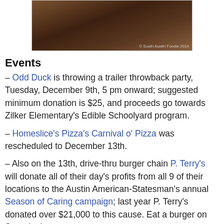[Figure (photo): Food/wine photograph with dark background, showing what appears to be wine bottle and food items. Caption: © South Austin Foodie 2014]
Events
– Odd Duck is throwing a trailer throwback party, Tuesday, December 9th, 5 pm onward; suggested minimum donation is $25, and proceeds go towards Zilker Elementary's Edible Schoolyard program.
– Homeslice's Pizza's Carnival o' Pizza was rescheduled to December 13th.
– Also on the 13th, drive-thru burger chain P. Terry's will donate all of their day's profits from all 9 of their locations to the Austin American-Statesman's annual Season of Caring campaign; last year P. Terry's donated over $21,000 to this cause. Eat a burger on Saturday!
– Texas Land and Cattle is offering holiday drink specials as well as some limited time menu offerings, Crab and Shrimp Stuffed Mushrooms and a smoked meat board for two people with sirloin, quail, and pork offerings.